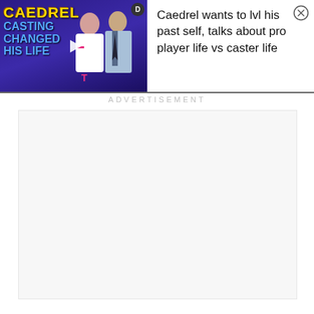[Figure (screenshot): Advertisement banner showing a YouTube-style video thumbnail on the left with text 'CAEDREL CASTING CHANGED HIS LIFE' on a dark purple background with two people, and ad title text on the right: 'Caedrel wants to lvl his past self, talks about pro player life vs caster life', with a close (X) button.]
ADVERTISEMENT